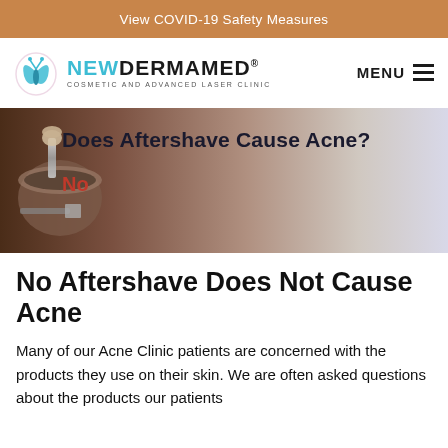View COVID-19 Safety Measures
[Figure (logo): NewDermaMed Cosmetic and Advanced Laser Clinic logo with teal butterfly/leaf icon and MENU hamburger icon]
[Figure (photo): Background photo of shaving tools including a brush and razor, with overlaid text 'Does Aftershave Cause Acne?' and 'No' in red]
No Aftershave Does Not Cause Acne
Many of our Acne Clinic patients are concerned with the products they use on their skin. We are often asked questions about the products our patients